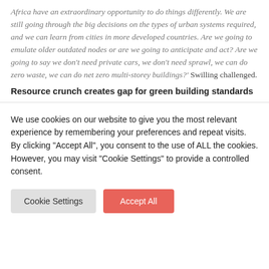Africa have an extraordinary opportunity to do things differently. We are still going through the big decisions on the types of urban systems required, and we can learn from cities in more developed countries. Are we going to emulate older outdated nodes or are we going to anticipate and act? Are we going to say we don't need private cars, we don't need sprawl, we can do zero waste, we can do net zero multi-storey buildings?' Swilling challenged.
Resource crunch creates gap for green building standards
We use cookies on our website to give you the most relevant experience by remembering your preferences and repeat visits. By clicking "Accept All", you consent to the use of ALL the cookies. However, you may visit "Cookie Settings" to provide a controlled consent.